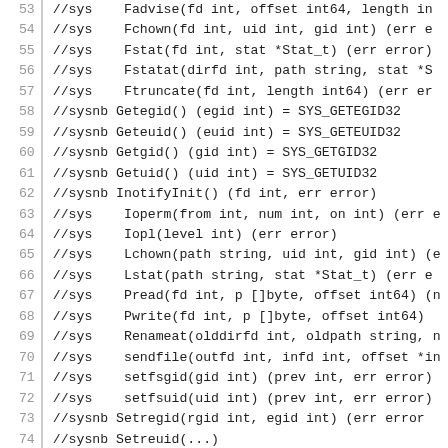53  //sys   Fadvise(fd int, offset int64, length in
54  //sys   Fchown(fd int, uid int, gid int) (err e
55  //sys   Fstat(fd int, stat *Stat_t) (err error)
56  //sys   Fstatat(dirfd int, path string, stat *S
57  //sys   Ftruncate(fd int, length int64) (err er
58  //sysnb Getegid() (egid int) = SYS_GETEGID32
59  //sysnb Geteuid() (euid int) = SYS_GETEUID32
60  //sysnb Getgid() (gid int) = SYS_GETGID32
61  //sysnb Getuid() (uid int) = SYS_GETUID32
62  //sysnb InotifyInit() (fd int, err error)
63  //sys   Ioperm(from int, num int, on int) (err
64  //sys   Iopl(level int) (err error)
65  //sys   Lchown(path string, uid int, gid int) (
66  //sys   Lstat(path string, stat *Stat_t) (err e
67  //sys   Pread(fd int, p []byte, offset int64) (
68  //sys   Pwrite(fd int, p []byte, offset int64)
69  //sys   Renameat(olddirfd int, oldpath string,
70  //sys   sendfile(outfd int, infd int, offset *i
71  //sys   setfsgid(gid int) (prev int, err error)
72  //sys   setfsuid(uid int) (prev int, err error)
73  //sysnb Setregid(rgid int, egid int) (err error
74  //sysnb Setreuid(...)